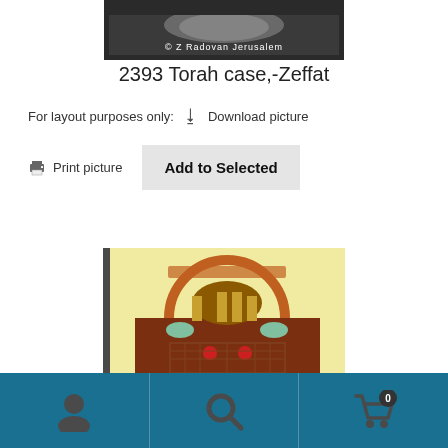[Figure (photo): Top portion of a Torah case artifact with '© Z Radovan Jerusalem' watermark on dark background]
2393 Torah case,-Zeffat
For layout purposes only:   Download picture
Print picture   Add to Selected
[Figure (photo): Decorative Torah ark panel with crown motif, colorful carved wood with birds and ornamental details on cream/yellow background]
Navigation bar with person icon, search icon, and cart icon